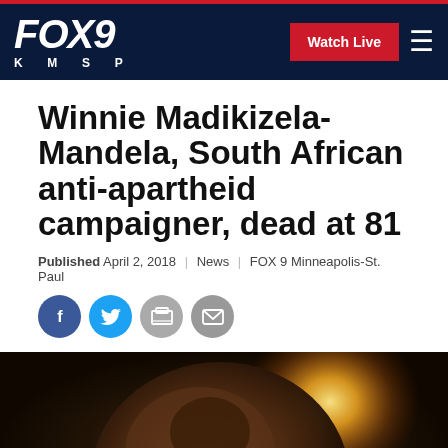FOX 9 KMSP | Watch Live
Winnie Madikizela-Mandela, South African anti-apartheid campaigner, dead at 81
Published April 2, 2018 | News | FOX 9 Minneapolis-St. Paul
[Figure (photo): Social media share icons: Facebook, Twitter, Print, Email]
[Figure (photo): Photo of Winnie Madikizela-Mandela wearing glasses, backlit with bright sunburst light, dark atmospheric background]